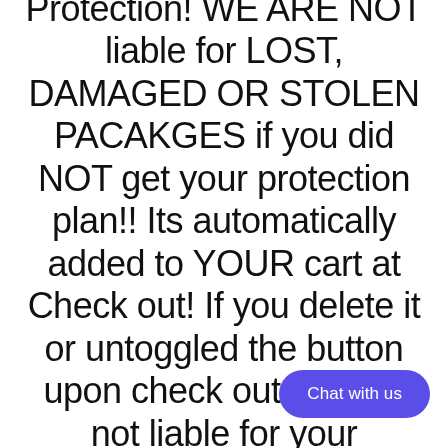Protection! WE ARE NOT liable for LOST, DAMAGED OR STOLEN PACAKGES if you did NOT get your protection plan!! Its automatically added to YOUR cart at Check out! If you delete it or untoggled the button upon check out, we are not liable for your package!
Chat with us